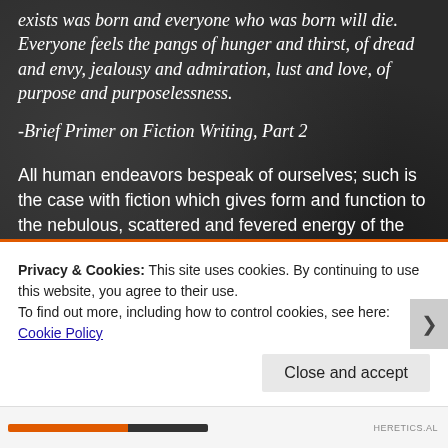exists was born and everyone who was born will die. Everyone feels the pangs of hunger and thirst, of dread and envy, jealousy and admiration, lust and love, of purpose and purposelessness.
-Brief Primer on Fiction Writing, Part 2
All human endeavors bespeak of ourselves; such is the case with fiction which gives form and function to the nebulous, scattered and fevered energy of the brain's wild imaginings all of which roil up from from the instinctual chasm. It is only reasonable, given their source, that those instinctual and often
Privacy & Cookies: This site uses cookies. By continuing to use this website, you agree to their use.
To find out more, including how to control cookies, see here: Cookie Policy
Close and accept